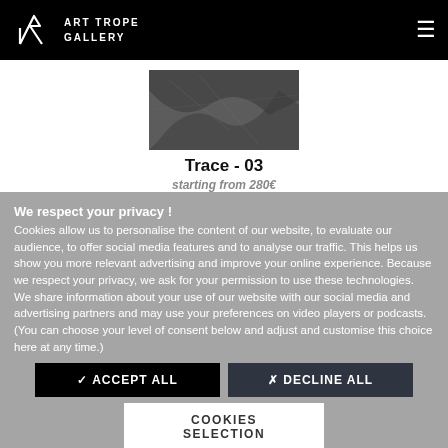[Figure (logo): Art Trope Gallery logo — stylized brush stroke / arrow mark in white on black, with text 'ART TROPE GALLERY' in white]
[Figure (photo): Partial view of an artwork photo (Trace - 03), textured dark surface]
Trace - 03
starting from 280€
We respect your privacy !
Cookies allow us to personalise the content of our website, to evaluate our audience, to offer social media features and to analyse our traffic. This helps us show you more relevant advertising and improve your online experience. Because we respect your privacy, we ask for your permission to use these technologies. We share information about your use of our website with our social media and advertising partners and may use your preferences on video players or podcasts. (You can choose your level of consent below and adjust and customise this choice here at any time.)
✓ ACCEPT ALL
✗ DECLINE ALL
COOKIES SELECTION